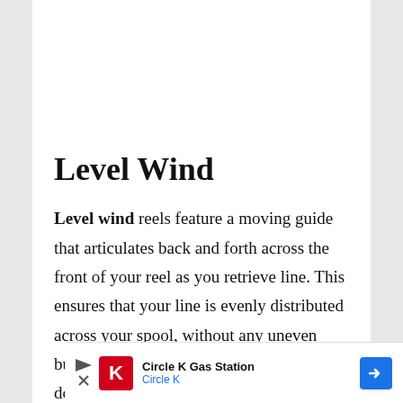Level Wind
Level wind reels feature a moving guide that articulates back and forth across the front of your reel as you retrieve line. This ensures that your line is evenly distributed across your spool, without any uneven buildups. Without a level wind, if you don't consciously distribute the line
[Figure (other): Advertisement banner for Circle K Gas Station with Circle K logo, play and close buttons, and a blue navigation arrow icon.]